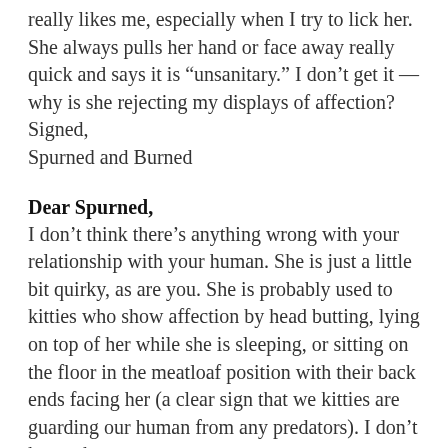really likes me, especially when I try to lick her. She always pulls her hand or face away really quick and says it is “unsanitary.” I don’t get it — why is she rejecting my displays of affection? Signed,
Spurned and Burned
Dear Spurned,
I don’t think there’s anything wrong with your relationship with your human. She is just a little bit quirky, as are you. She is probably used to kitties who show affection by head butting, lying on top of her while she is sleeping, or sitting on the floor in the meatloaf position with their back ends facing her (a clear sign that we kitties are guarding our human from any predators). I don’t know the